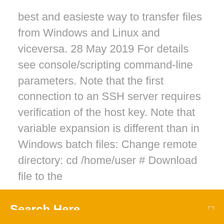best and easieste way to transfer files from Windows and Linux and viceversa. 28 May 2019 For details see console/scripting command-line parameters. Note that the first connection to an SSH server requires verification of the host key. Note that variable expansion is different than in Windows batch files: Change remote directory: cd /home/user # Download file to the
Search Here
FTPS, SCP, SFTP, WebDAV or S3 file transfer protocols. 7 Nov 2016 Users can securely download a file from any remote server with SSH by using the scp tool at the command line. Essentially this means you can  24 Dec 2018 To transfer files to or from a server using SFTP, use an SSH or SFTP client. When the software connects to your host, a window should appear Once logged into the server, you will see the following command-line prompt: